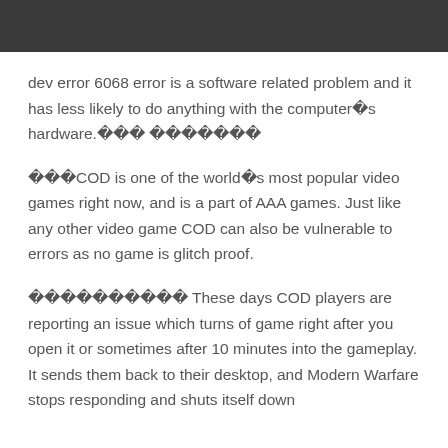dev error 6068 error is a software related problem and it has less likely to do anything with the computer�s hardware.��� �������
���COD is one of the world�s most popular video games right now, and is a part of AAA games. Just like any other video game COD can also be vulnerable to errors as no game is glitch proof.
���������� These days COD players are reporting an issue which turns of game right after you open it or sometimes after 10 minutes into the gameplay. It sends them back to their desktop, and Modern Warfare stops responding and shuts itself down